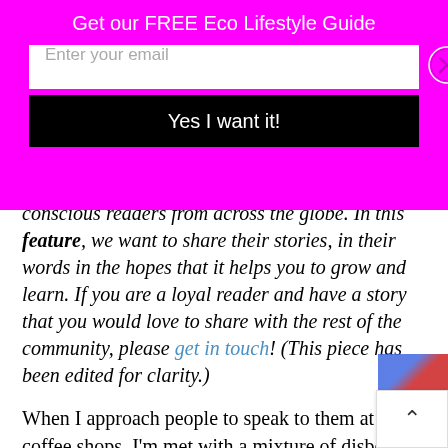Get our FREE Eco Lifestyle Guide
[Figure (screenshot): Email signup popup with magenta background, email input field, close button, and black submit button reading 'Yes I want it!']
conscious readers from across the globe. In this feature, we want to share their stories, in their words in the hopes that it helps you to grow and learn. If you are a loyal reader and have a story that you would love to share with the rest of the community, please get in touch! (This piece has been edited for clarity.)
When I approach people to speak to them at coffee shops, I'm met with a mixture of disbelief, disdain and even mild shock. What?! A stranger is speaking to me? She wants to shake my hand? Does she want money?!
The other thing that happens is men of a certain age (a… 45) assume I'm just a very bold woman trying to pick…